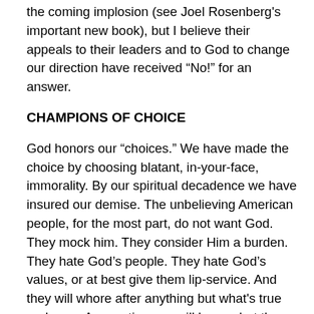the coming implosion (see Joel Rosenberg's important new book), but I believe their appeals to their leaders and to God to change our direction have received “No!” for an answer.
CHAMPIONS OF CHOICE
God honors our “choices.” We have made the choice by choosing blatant, in-your-face, immorality. By our spiritual decadence we have insured our demise. The unbelieving American people, for the most part, do not want God. They mock him. They consider Him a burden. They hate God’s people. They hate God’s values, or at best give them lip-service. And they will whore after anything but what’s true and pure. As a nation, we will have what the people have decided in their hearts. And many in the churches have embraced, and even championed, the decadence and